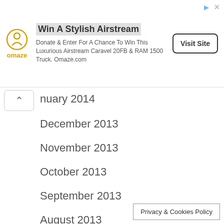[Figure (other): Omaze advertisement banner: logo, headline 'Win A Stylish Airstream', body text about donating to win, and 'Visit Site' button]
nuary 2014
December 2013
November 2013
October 2013
September 2013
August 2013
July 2013
June 2013
May 2013
April 2013
March 2013
February 2013
Privacy & Cookies Policy